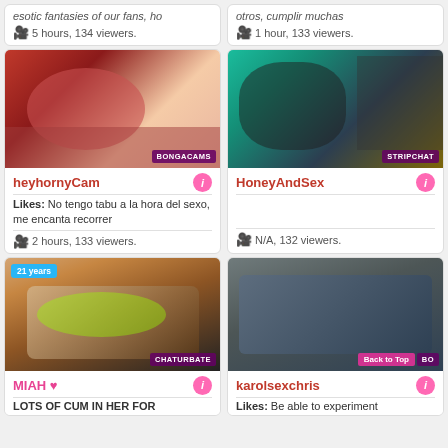esotic fantasies of our fans, ho — 5 hours, 134 viewers.
otros, cumplir muchas — 1 hour, 133 viewers.
[Figure (photo): Webcam thumbnail for heyhornyCam, BONGACAMS]
heyhornyCam — Likes: No tengo tabu a la hora del sexo, me encanta recorrer — 2 hours, 133 viewers.
[Figure (photo): Webcam thumbnail for HoneyAndSex, STRIPCHAT]
HoneyAndSex — N/A, 132 viewers.
[Figure (photo): Webcam thumbnail for MIAH, 21 years, CHATURBATE]
MIAH ♥ — LOTS OF CUM IN HER FOR
[Figure (photo): Webcam thumbnail for karolsexchris, BONGACAMS, Back to Top button]
karolsexchris — Likes: Be able to experiment